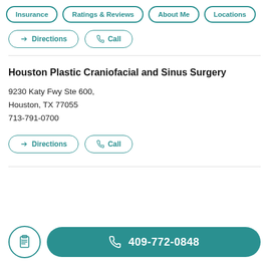Insurance | Ratings & Reviews | About Me | Locations
Directions | Call
Houston Plastic Craniofacial and Sinus Surgery
9230 Katy Fwy Ste 600,
Houston, TX 77055
713-791-0700
Directions | Call
409-772-0848